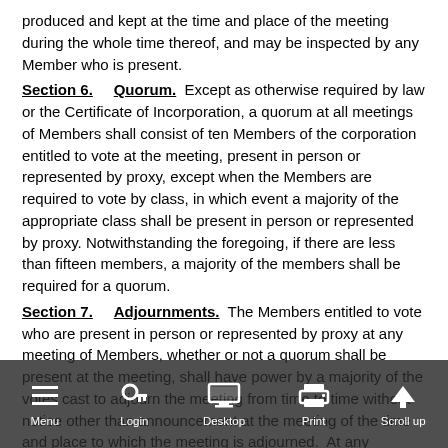produced and kept at the time and place of the meeting during the whole time thereof, and may be inspected by any Member who is present.
Section 6. Quorum. Except as otherwise required by law or the Certificate of Incorporation, a quorum at all meetings of Members shall consist of ten Members of the corporation entitled to vote at the meeting, present in person or represented by proxy, except when the Members are required to vote by class, in which event a majority of the appropriate class shall be present in person or represented by proxy. Notwithstanding the foregoing, if there are less than fifteen members, a majority of the members shall be required for a quorum.
Section 7. Adjournments. The Members entitled to vote who are present in person or represented by proxy at any meeting of Members, whether or not a quorum shall be present at the meeting, shall have power by a majority of the votes cast to adjourn the meeting from time to time without notice other than announcement at the meeting of the time and place to which the meeting is adjourned. At any adjourned meeting held without notice at which a quorum shall be present any business may be transacted that might have been transacted on the original date of the meeting. If the adjournment is for more than thirty days, or if after the adjournment a new record date is fixed for the adjourned meeting, notice of the adjourned meeting shall be given to each Member of record